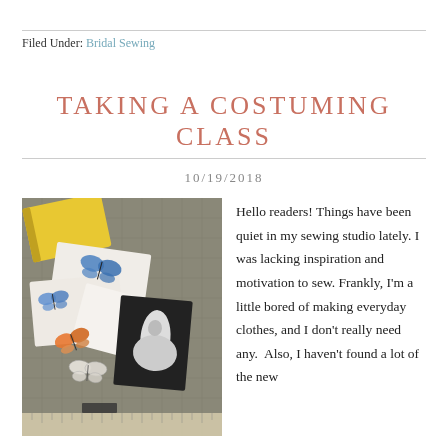Filed Under: Bridal Sewing
TAKING A COSTUMING CLASS
10/19/2018
[Figure (photo): Photo of a cutting mat with butterfly print-outs and a black-and-white image of a dress form/ballgown, along with a yellow notebook, scissors, and a ruler.]
Hello readers! Things have been quiet in my sewing studio lately. I was lacking inspiration and motivation to sew. Frankly, I'm a little bored of making everyday clothes, and I don't really need any.  Also, I haven't found a lot of the new